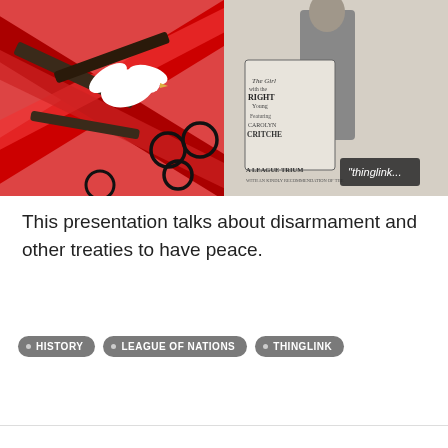[Figure (illustration): Two-panel interactive image. Left panel: stylized illustration of crossed rifles/guns with a white dove and red X pattern background, with circular interactive hotspot markers. Right panel: black and white vintage sketch/illustration of a man holding a sign reading 'A League Triumph' with a ThingLink watermark badge.]
This presentation talks about disarmament and other treaties to have peace.
HISTORY
LEAGUE OF NATIONS
THINGLINK